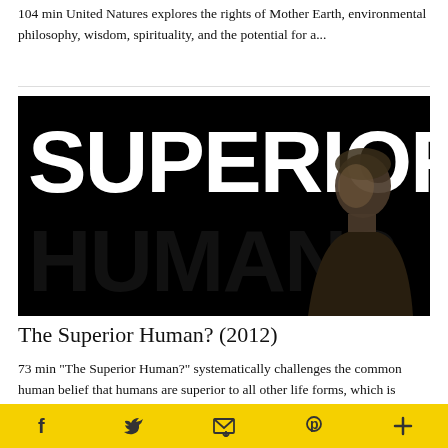104 min United Natures explores the rights of Mother Earth, environmental philosophy, wisdom, spirituality, and the potential for a...
[Figure (photo): Movie poster for 'The Superior Human? (2012)' — bold white text 'SUPERIOR HUMAN?' on black background with a man's profile silhouette on the right.]
The Superior Human? (2012)
73 min "The Superior Human?" systematically challenges the common human belief that humans are superior to all other life forms, which is often...
Facebook  Twitter  Email  Pinterest  More